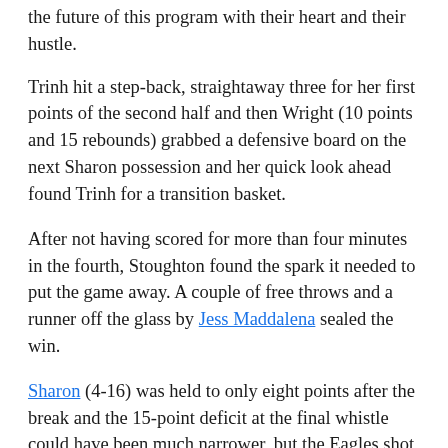the future of this program with their heart and their hustle.
Trinh hit a step-back, straightaway three for her first points of the second half and then Wright (10 points and 15 rebounds) grabbed a defensive board on the next Sharon possession and her quick look ahead found Trinh for a transition basket.
After not having scored for more than four minutes in the fourth, Stoughton found the spark it needed to put the game away. A couple of free throws and a runner off the glass by Jess Maddalena sealed the win.
Sharon (4-16) was held to only eight points after the break and the 15-point deficit at the final whistle could have been much narrower, but the Eagles shot only 8-for-27 from the line and made only two shots from the field in the second half.
“Especially against a team that’s playing a zone, you’re attacking the rim but you’ve got to finish or get to the line, which we did but just couldn’t hit our foul shots tonight,” said